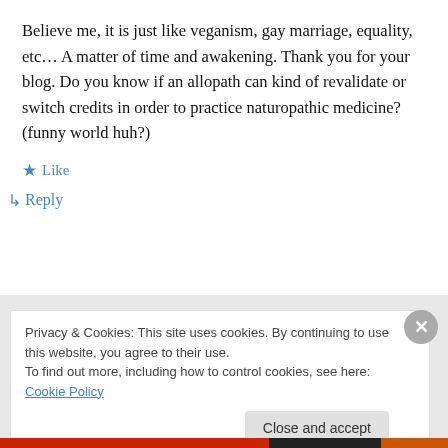Believe me, it is just like veganism, gay marriage, equality, etc… A matter of time and awakening. Thank you for your blog. Do you know if an allopath can kind of revalidate or switch credits in order to practice naturopathic medicine? (funny world huh?)
★ Like
↳ Reply
Privacy & Cookies: This site uses cookies. By continuing to use this website, you agree to their use.
To find out more, including how to control cookies, see here: Cookie Policy
Close and accept